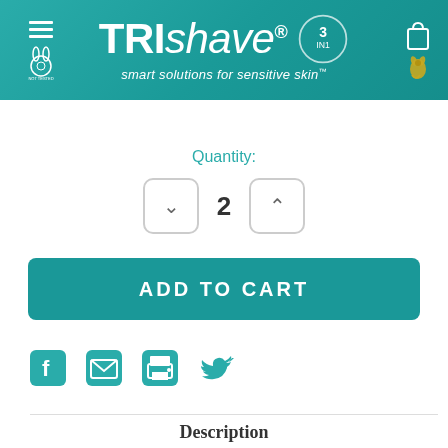[Figure (screenshot): Trishave website header banner with teal background showing TRIshave logo, 3in1 badge, tagline 'smart solutions for sensitive skin', hamburger menu, cruelty-free rabbit logo, shopping bag and kangaroo icons]
Quantity:
[Figure (other): Quantity selector showing down arrow button, number 2, and up arrow button]
ADD TO CART
[Figure (other): Social sharing icons: Facebook, email/envelope, print, Twitter]
Description